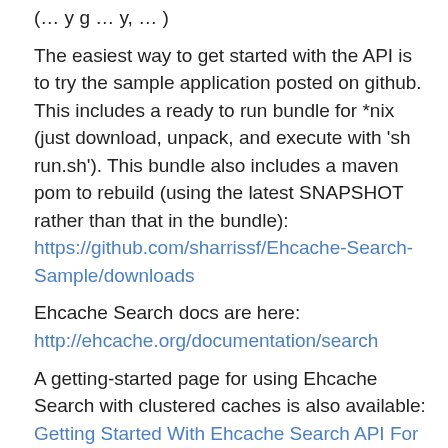(…) y g … y, … )
The easiest way to get started with the API is to try the sample application posted on github. This includes a ready to run bundle for *nix (just download, unpack, and execute with 'sh run.sh'). This bundle also includes a maven pom to rebuild (using the latest SNAPSHOT rather than that in the bundle): https://github.com/sharrissf/Ehcache-Search-Sample/downloads
Ehcache Search docs are here:
http://ehcache.org/documentation/search
A getting-started page for using Ehcache Search with clustered caches is also available: Getting Started With Ehcache Search API For Clustered Caches
New configuration options
NonStopCache is disabled by default, to enable non-stop, update the element in each